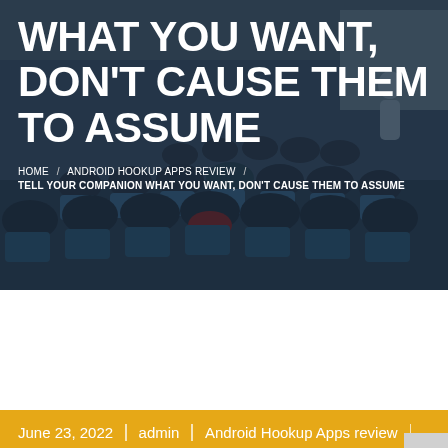[Figure (photo): Lecture hall with audience viewed from back, people in blue chairs facing a presenter at front, dark overlay applied]
WHAT YOU WANT, DON'T CAUSE THEM TO ASSUME
HOME / ANDROID HOOKUP APPS REVIEW / TELL YOUR COMPANION WHAT YOU WANT, DON'T CAUSE THEM TO ASSUME
June 23, 2022 | admin | Android Hookup Apps review | No Comments